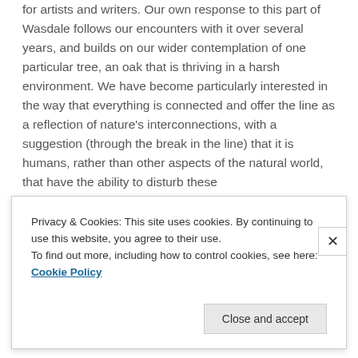for artists and writers. Our own response to this part of Wasdale follows our encounters with it over several years, and builds on our wider contemplation of one particular tree, an oak that is thriving in a harsh environment. We have become particularly interested in the way that everything is connected and offer the line as a reflection of nature's interconnections, with a suggestion (through the break in the line) that it is humans, rather than other aspects of the natural world, that have the ability to disturb these
Privacy & Cookies: This site uses cookies. By continuing to use this website, you agree to their use.
To find out more, including how to control cookies, see here: Cookie Policy